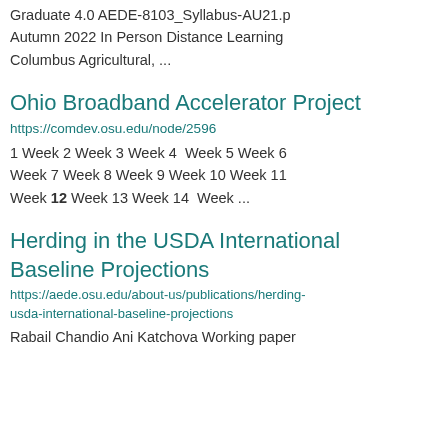Graduate 4.0 AEDE-8103_Syllabus-AU21.p Autumn 2022 In Person Distance Learning Columbus Agricultural, ...
Ohio Broadband Accelerator Project
https://comdev.osu.edu/node/2596
1 Week 2 Week 3 Week 4  Week 5 Week 6 Week 7 Week 8 Week 9 Week 10 Week 11 Week 12 Week 13 Week 14  Week ...
Herding in the USDA International Baseline Projections
https://aede.osu.edu/about-us/publications/herding-usda-international-baseline-projections
Rabail Chandio Ani Katchova Working paper